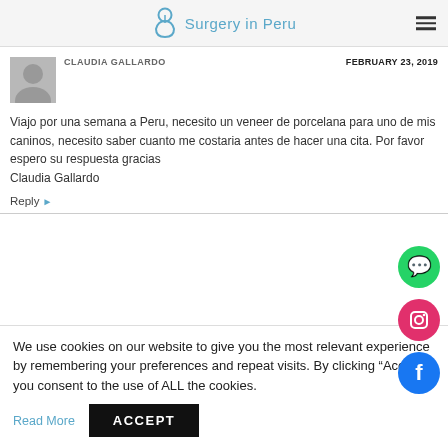Surgery in Peru
[Figure (photo): Grey avatar/profile placeholder icon for user Claudia Gallardo]
CLAUDIA GALLARDO
FEBRUARY 23, 2019
Viajo por una semana a Peru, necesito un veneer de porcelana para uno de mis caninos, necesito saber cuanto me costaria antes de hacer una cita. Por favor espero su respuesta gracias
Claudia Gallardo
Reply
[Figure (logo): WhatsApp green circle button]
[Figure (logo): Instagram red/pink circle button]
[Figure (logo): Facebook blue circle button]
We use cookies on our website to give you the most relevant experience by remembering your preferences and repeat visits. By clicking “Accept”, you consent to the use of ALL the cookies.
Read More
ACCEPT